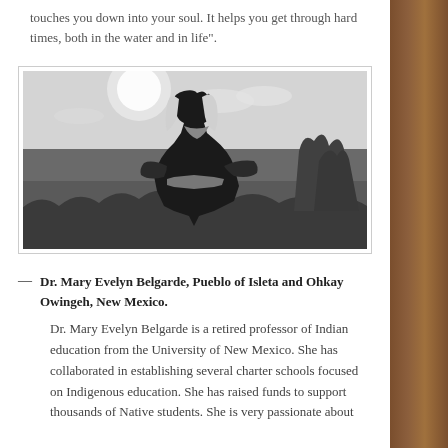touches you down into your soul. It helps you get through hard times, both in the water and in life".
[Figure (photo): Black and white photograph of Dr. Mary Evelyn Belgarde, an elderly Native American woman with long gray hair, wearing traditional black clothing with a multi-strand turquoise necklace and a decorated belt, standing outdoors in a landscape with grass and sky, arms slightly outstretched, looking upward.]
— Dr. Mary Evelyn Belgarde, Pueblo of Isleta and Ohkay Owingeh, New Mexico.
Dr. Mary Evelyn Belgarde is a retired professor of Indian education from the University of New Mexico. She has collaborated in establishing several charter schools focused on Indigenous education. She has raised funds to support thousands of Native students. She is very passionate about